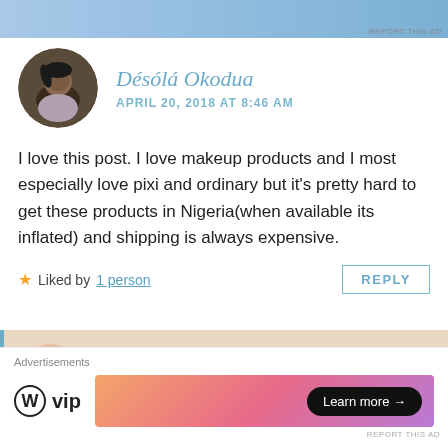[Figure (other): Top advertisement banner with blue gradient]
[Figure (photo): Circular avatar of commenter Désólá Okodua, a woman with braids]
Désólá Okodua
APRIL 20, 2018 AT 8:46 AM
I love this post. I love makeup products and I most especially love pixi and ordinary but it's pretty hard to get these products in Nigeria(when available its inflated) and shipping is always expensive.
★ Liked by 1 person
REPLY
[Figure (logo): beccapbeauty circular logo with handwritten 'becca' text on beige background]
beccapbeauty
APRIL 20, 2018 AT 8:03 PM
Advertisements
[Figure (logo): WordPress VIP logo with W circle icon and text 'vip']
[Figure (other): Advertisement banner with orange-pink gradient and Learn more button]